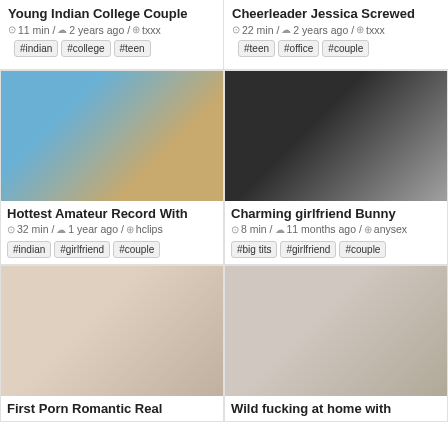Young Indian College Couple
11 min / 2 years ago / txxx
#indian #college #teen
Cheerleader Jessica Screwed
22 min / 2 years ago / txxx
#teen #office #couple
[Figure (photo): Blurred thumbnail of couple on floor with blue outfit]
[Figure (photo): Couple kissing close-up in dark room]
Hottest Amateur Record With
32 min / 1 year ago / hclips
#indian #girlfriend #couple
Charming girlfriend Bunny
8 min / 11 months ago / anysex
#big tits #girlfriend #couple
[Figure (photo): Blurred figure on bed light tones]
[Figure (photo): Asian couple kissing intimate scene]
First Porn Romantic Real
Wild fucking at home with